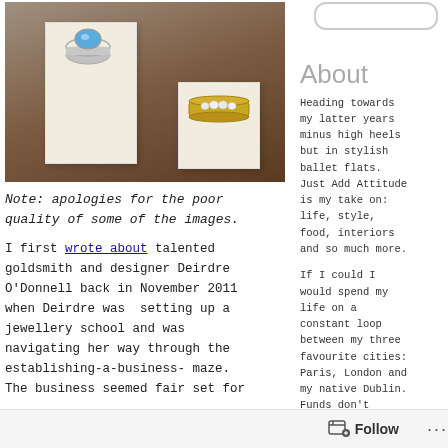[Figure (photo): Photograph of two jewelry rings on white display box stands against a dark marble/wood background. Left: silver ring with blue oval gemstone. Right: gold band ring with small diamonds.]
Note: apologies for the poor quality of some of the images.
I first wrote about talented goldsmith and designer Deirdre O'Donnell back in November 2011 when Deirdre was  setting up a jewellery school and was navigating her way through the establishing-a-business- maze. The business seemed fair set for
About
Heading towards my latter years minus high heels but in stylish ballet flats. Just Add Attitude is my take on: life, style, food, interiors and so much more.
If I could I would spend my life on a constant loop between my three favourite cities: Paris, London and my native Dublin. Funds don't
Follow ...